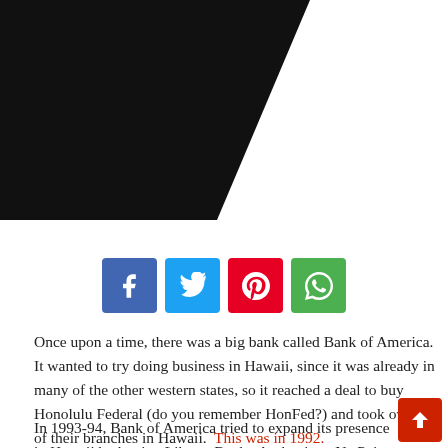[Figure (photo): Partial photo of a person in dark clothing, cropped diagonally, dark background]
[Figure (infographic): Social media share buttons: Facebook (blue), Twitter (cyan), Pinterest (red), WhatsApp (green)]
Once upon a time, there was a big bank called Bank of America.  It wanted to try doing business in Hawaii, since it was already in many of the other western states, so it reached a deal to buy Honolulu Federal (do you remember HonFed?) and took over all of their branches in Hawaii.  This was in 1992.
In 1993-94, Bank of America tried to expand its presence in Hawaii by buying Liberty Bank.  At the time, Na Po'e Kokua, supposedly an organization established to assist native